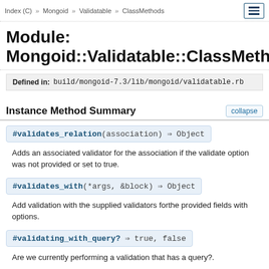Index (C) >> Mongoid >> Validatable >> ClassMethods
Module: Mongoid::Validatable::ClassMethods
Defined in: build/mongoid-7.3/lib/mongoid/validatable.rb
Instance Method Summary
#validates_relation(association) ⇒ Object
Adds an associated validator for the association if the validate option was not provided or set to true.
#validates_with(*args, &block) ⇒ Object
Add validation with the supplied validators forthe provided fields with options.
#validating_with_query? ⇒ true, false
Are we currently performing a validation that has a query?.